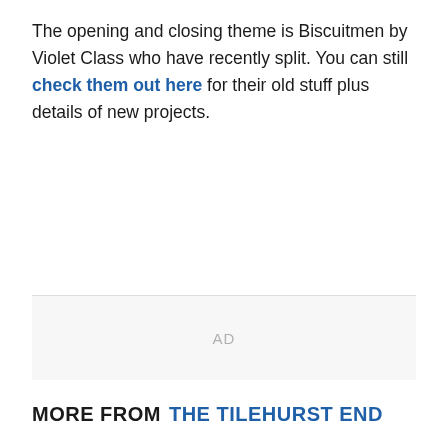The opening and closing theme is Biscuitmen by Violet Class who have recently split. You can still check them out here for their old stuff plus details of new projects.
[Figure (other): Advertisement placeholder box with 'AD' label in center]
MORE FROM THE TILEHURST END